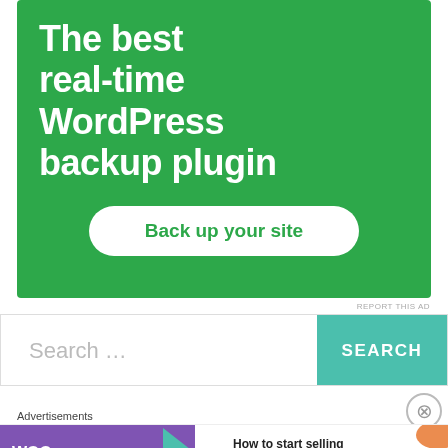[Figure (screenshot): Green advertisement banner for a WordPress backup plugin with text 'The best real-time WordPress backup plugin' and a white button 'Back up your site']
REPORT THIS AD
[Figure (screenshot): Search bar with placeholder text 'Search ...' and a teal 'SEARCH' button]
[Figure (screenshot): WooCommerce advertisement banner showing 'How to start selling subscriptions online']
Advertisements